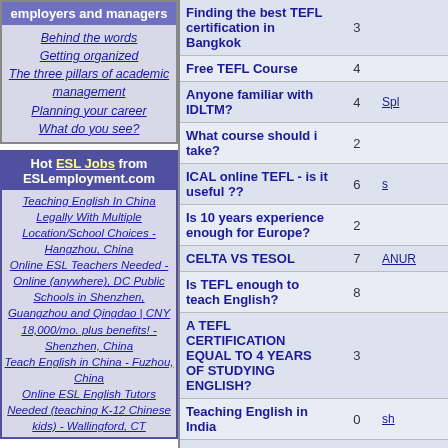employers and managers
Behind the words
Getting organized
The three pillars of academic management
Planning your career
What do you see?
Hot ESL Jobs from ESLemployment.com
Teaching English In China Legally With Multiple Location/School Choices - Hangzhou, China
Online ESL Teachers Needed - Online (anywhere), DC Public Schools in Shenzhen, Guangzhou and Qingdao | CNY 18,000/mo. plus benefits! - Shenzhen, China
Teach English in China - Fuzhou, China
Online ESL English Tutors Needed (teaching K-12 Chinese kids) - Wallingford, CT
| Topic | Replies | Last Post |
| --- | --- | --- |
| Finding the best TEFL certification in Bangkok | 3 |  |
| Free TEFL Course | 4 |  |
| Anyone familiar with IDLTM? | 4 | Spl |
| What course should i take? | 2 |  |
| ICAL online TEFL - is it useful ?? | 6 | s |
| Is 10 years experience enough for Europe? | 2 |  |
| CELTA VS TESOL | 7 | ANUR |
| Is TEFL enough to teach English? | 8 |  |
| A TEFL CERTIFICATION EQUAL TO 4 YEARS OF STUDYING ENGLISH? | 3 |  |
| Teaching English in India | 0 | sh |
| An MA TESOL, what will it get me? [ Goto page: 1, 2, 3 ] | 31 |  |
| Advice for potential TEFL | 4 |  |